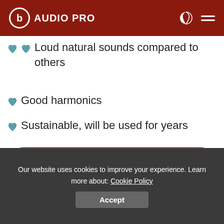AUDIO PRO
Loud natural sounds compared to others
Good harmonics
Sustainable, will be used for years
Cons
I need some time to adapt to strings
Our website uses cookies to improve your experience. Learn more about: Cookie Policy
Accept